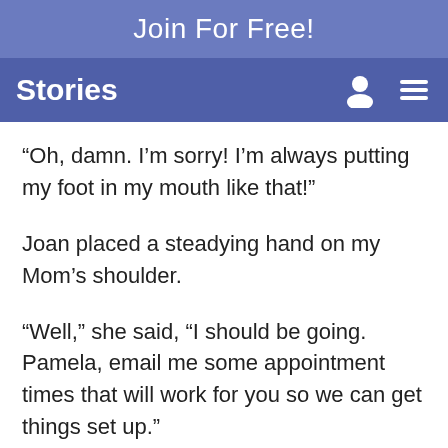Join For Free!
Stories
“Oh, damn. I’m sorry! I’m always putting my foot in my mouth like that!”
Joan placed a steadying hand on my Mom’s shoulder.
“Well,” she said, “I should be going. Pamela, email me some appointment times that will work for you so we can get things set up.”
She turned to Jade and asked, “Would you like to share an umbrella?”